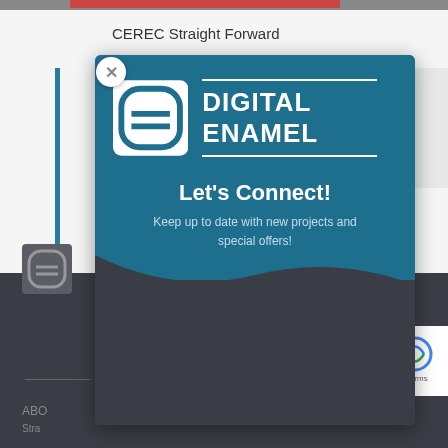[Figure (screenshot): Website background showing 'CEREC Straight Forward' title and dark footer with form fields]
[Figure (logo): Digital Enamel logo — white D-shaped icon with horizontal lines and 'DIGITAL ENAMEL' wordmark on teal background]
Let's Connect!
Keep up to date with new projects and special offers!
First Name
Last Name